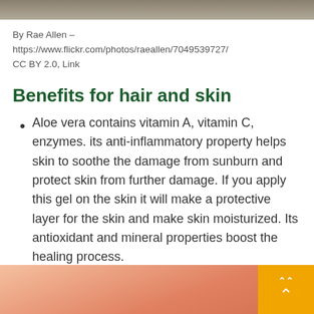[Figure (photo): Top strip of a photo, likely showing an aloe vera plant or related subject]
By Rae Allen – https://www.flickr.com/photos/raeallen/7049539727/ CC BY 2.0, Link
Benefits for hair and skin
Aloe vera contains vitamin A, vitamin C, enzymes. its anti-inflammatory property helps skin to soothe the damage from sunburn and protect skin from further damage. If you apply this gel on the skin it will make a protective layer for the skin and make skin moisturized. Its antioxidant and mineral properties boost the healing process.
[Figure (photo): Bottom portion of a photo showing what appears to be skin or aloe product application, partially visible]